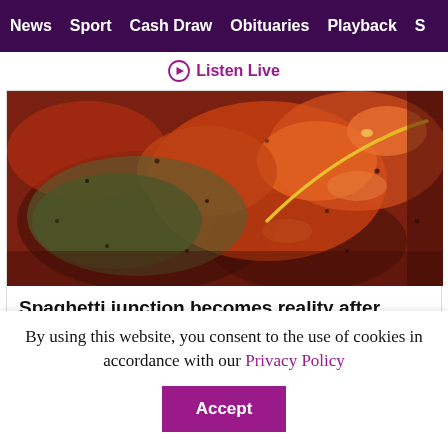News  Sport  Cash Draw  Obituaries  Playback  S
▶ Listen Live
[Figure (photo): Close-up of tomato pasta sauce with a yellow pasta noodle strand visible, reddish-orange sauce with black specks and glossy highlights]
Spaghetti junction becomes reality after pasta sauce truck spill
31 August 2022
[Figure (screenshot): Partial view of another article card showing a person's face and teal/green background with text]
By using this website, you consent to the use of cookies in accordance with our Privacy Policy
Accept